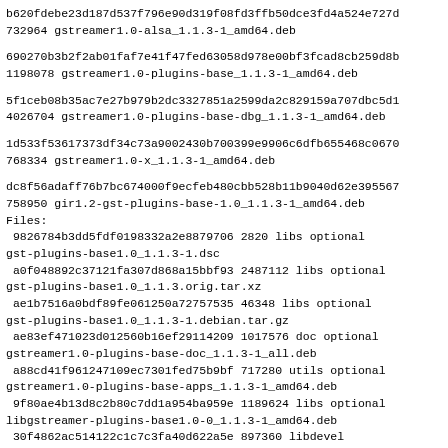b620fdebe23d187d537f796e90d319f08fd3ffb50dce3fd4a524e727d
732964 gstreamer1.0-alsa_1.1.3-1_amd64.deb
690270b3b2f2ab01faf7e41f47fed63058d978e00bf3fcad8cb259d8b
1198078 gstreamer1.0-plugins-base_1.1.3-1_amd64.deb
5f1ceb08b35ac7e27b979b2dc3327851a2599da2c829159a707dbc5d1
4026704 gstreamer1.0-plugins-base-dbg_1.1.3-1_amd64.deb
1d533f53617373df34c73a9002430b700399e9906c6dfb655468c0670
768334 gstreamer1.0-x_1.1.3-1_amd64.deb
dc8f56adaff76b7bc674000f9ecfeb480cbb528b11b9040d62e395567
758950 gir1.2-gst-plugins-base-1.0_1.1.3-1_amd64.deb
Files:
 9826784b3dd5fdf0198332a2e8879706 2820 libs optional gst-plugins-base1.0_1.1.3-1.dsc
 a0f048892c37121fa307d868a15bbf93 2487112 libs optional gst-plugins-base1.0_1.1.3.orig.tar.xz
 ae1b7516a0bdf89fe061250a72757535 46348 libs optional gst-plugins-base1.0_1.1.3-1.debian.tar.gz
 ae83ef471023d012560b16ef29114209 1017576 doc optional gstreamer1.0-plugins-base-doc_1.1.3-1_all.deb
 a88cd41f961247109ec7301fed75b9bf 717280 utils optional gstreamer1.0-plugins-base-apps_1.1.3-1_amd64.deb
 9f80ae4b13d8c2b80c7dd1a954ba959e 1189624 libs optional libgstreamer-plugins-base1.0-0_1.1.3-1_amd64.deb
 30f4862ac514122c1c7c3fa40d622a5e 897360 libdevel optional libgstreamer-plugins-base1.0-dev_1.1.3-1_amd64.deb